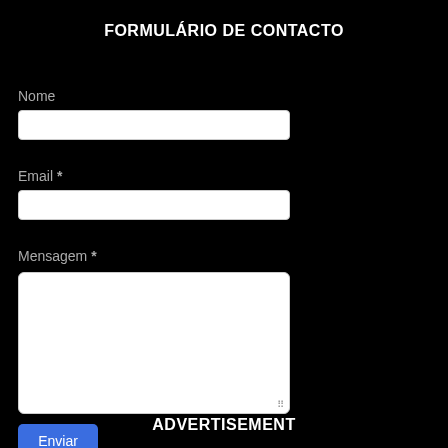FORMULÁRIO DE CONTACTO
Nome
[Figure (screenshot): Text input field for Nome (name)]
Email *
[Figure (screenshot): Text input field for Email]
Mensagem *
[Figure (screenshot): Textarea field for Mensagem (message)]
Enviar
ADVERTISEMENT